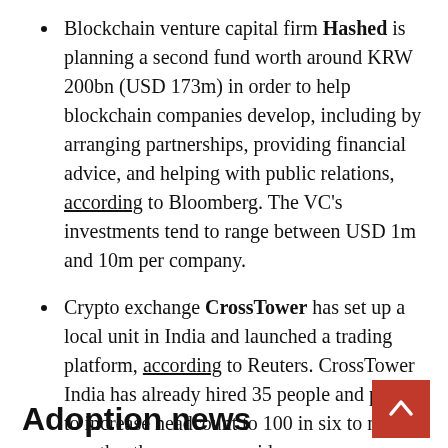Blockchain venture capital firm Hashed is planning a second fund worth around KRW 200bn (USD 173m) in order to help blockchain companies develop, including by arranging partnerships, providing financial advice, and helping with public relations, according to Bloomberg. The VC's investments tend to range between USD 1m and 10m per company.
Crypto exchange CrossTower has set up a local unit in India and launched a trading platform, according to Reuters. CrossTower India has already hired 35 people and plans to increase headcount to 100 in six to nine months, the company said.
Adoption news